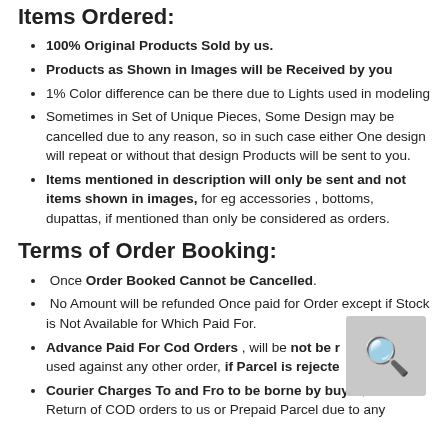Items Ordered:
100% Original Products Sold by us.
Products as Shown in Images will be Received by you
1% Color difference can be there due to Lights used in modeling
Sometimes in Set of Unique Pieces, Some Design may be cancelled due to any reason, so in such case either One design will repeat or without that design Products will be sent to you.
Items mentioned in description will only be sent and not items shown in images, for eg accessories , bottoms, dupattas, if mentioned than only be considered as orders.
Terms of Order Booking:
Once Order Booked Cannot be Cancelled.
No Amount will be refunded Once paid for Order except if Stock is Not Available for Which Paid For.
Advance Paid For Cod Orders , will be not be refunded or used against any other order, if Parcel is rejected at time of delivery
Courier Charges To and Fro to be borne by buyer, if there is Return of COD orders to us or Prepaid Parcel due to any